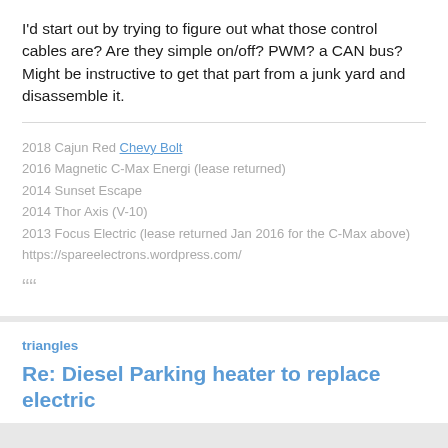I'd start out by trying to figure out what those control cables are? Are they simple on/off? PWM? a CAN bus? Might be instructive to get that part from a junk yard and disassemble it.
2018 Cajun Red Chevy Bolt
2016 Magnetic C-Max Energi (lease returned)
2014 Sunset Escape
2014 Thor Axis (V-10)
2013 Focus Electric (lease returned Jan 2016 for the C-Max above)
https://spareelectrons.wordpress.com/
““
triangles
Re: Diesel Parking heater to replace electric